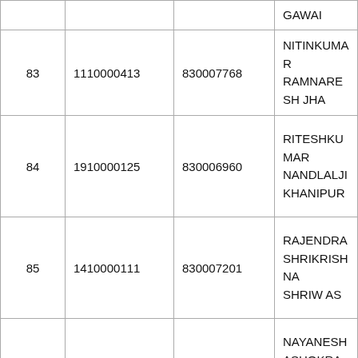|  |  |  |  |
| --- | --- | --- | --- |
|  |  |  | GAWAI (partial) |
| 83 | 1110000413 | 830007768 | NITINKUMAR RAMNARESH JHA |
| 84 | 1910000125 | 830006960 | RITESHKUMAR NANDLALJI KHANIPUR |
| 85 | 1410000111 | 830007201 | RAJENDRA SHRIKRISHNA SHRIW AS |
| 86 | 1910000464 | 830003448 | NAYANESH ASHOKRAO BHAVAR |
| 87 | 1410000047 | 830001919 | SWAPNIL SURESH |